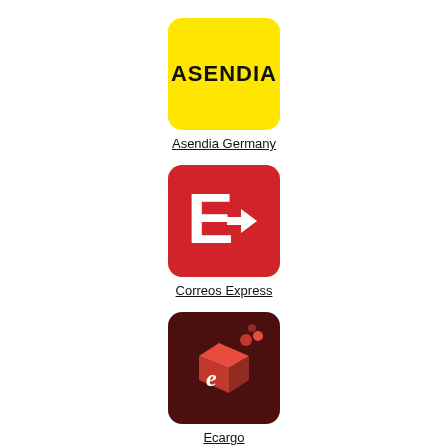[Figure (logo): Asendia logo: yellow rounded square with bold black text ASENDIA]
Asendia Germany
[Figure (logo): Correos Express logo: red rounded square with white E and arrow symbol]
Correos Express
[Figure (logo): Ecargo logo: dark brown/maroon rounded square with red 3D box and white cursive e]
Ecargo